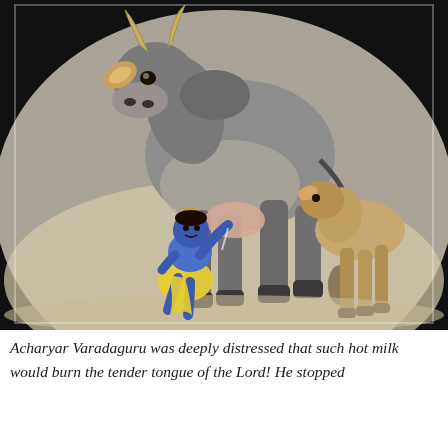[Figure (illustration): A painting depicting a small child (Lord Krishna, shown with blue skin and yellow dhoti) milking a large grey/white cow from behind, with a calf standing to the right. The cow has a hump and horns. The background is dark at the top and lighter at the bottom, with a hazy atmospheric quality typical of Indian devotional art.]
Acharyar Varadaguru was deeply distressed that such hot milk would burn the tender tongue of the Lord! He stopped